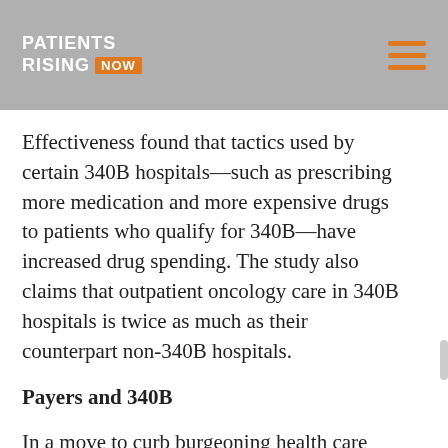PATIENTS RISING NOW
Effectiveness found that tactics used by certain 340B hospitals—such as prescribing more medication and more expensive drugs to patients who qualify for 340B—have increased drug spending. The study also claims that outpatient oncology care in 340B hospitals is twice as much as their counterpart non-340B hospitals.
Payers and 340B
In a move to curb burgeoning health care costs, the Centers for Medicare & Medicaid Services (CMS) announced plans to cut its 2018-2019